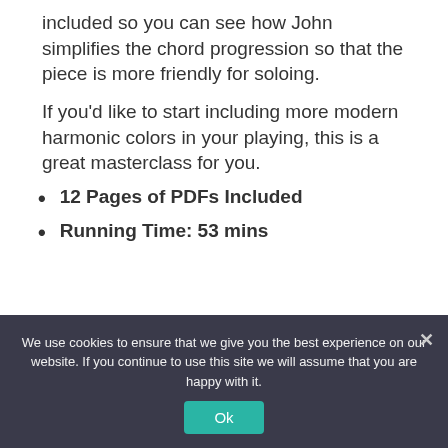included so you can see how John simplifies the chord progression so that the piece is more friendly for soloing.
If you'd like to start including more modern harmonic colors in your playing, this is a great masterclass for you.
12 Pages of PDFs Included
Running Time: 53 mins
Add to Cart for $19.95  or
We use cookies to ensure that we give you the best experience on our website. If you continue to use this site we will assume that you are happy with it.